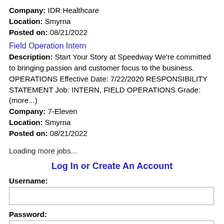Company: IDR Healthcare
Location: Smyrna
Posted on: 08/21/2022
Field Operation Intern
Description: Start Your Story at Speedway We're committed to bringing passion and customer focus to the business. OPERATIONS Effective Date: 7/22/2020 RESPONSIBILITY STATEMENT Job: INTERN, FIELD OPERATIONS Grade: (more...)
Company: 7-Eleven
Location: Smyrna
Posted on: 08/21/2022
Loading more jobs...
Log In or Create An Account
Username:
Password: